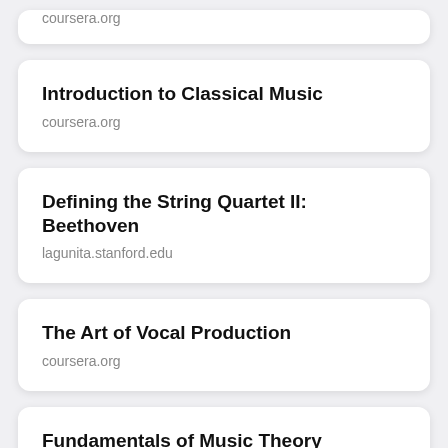coursera.org
Introduction to Classical Music
coursera.org
Defining the String Quartet II: Beethoven
lagunita.stanford.edu
The Art of Vocal Production
coursera.org
Fundamentals of Music Theory
coursera.org